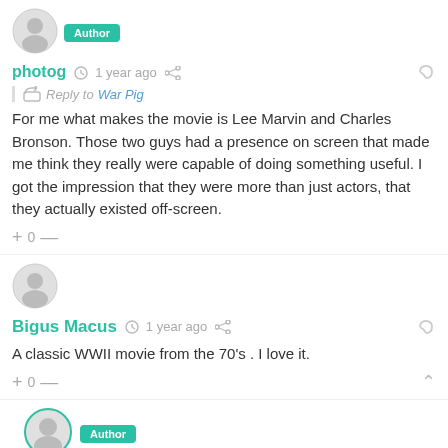[Figure (other): User avatar circle icon with Author badge]
photog  1 year ago
Reply to War Pig
For me what makes the movie is Lee Marvin and Charles Bronson. Those two guys had a presence on screen that made me think they really were capable of doing something useful. I got the impression that they were more than just actors, that they actually existed off-screen.
+ 0 —
[Figure (other): User avatar circle icon]
Bigus Macus  1 year ago
A classic WWII movie from the 70's . I love it.
+ 0 —
[Figure (other): User avatar circle icon with Author badge]